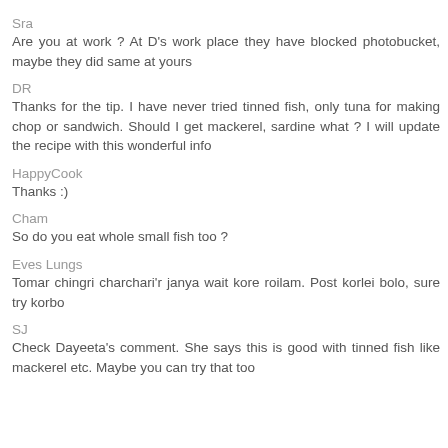Sra
Are you at work ? At D's work place they have blocked photobucket, maybe they did same at yours
DR
Thanks for the tip. I have never tried tinned fish, only tuna for making chop or sandwich. Should I get mackerel, sardine what ? I will update the recipe with this wonderful info
HappyCook
Thanks :)
Cham
So do you eat whole small fish too ?
Eves Lungs
Tomar chingri charchari'r janya wait kore roilam. Post korlei bolo, sure try korbo
SJ
Check Dayeeta's comment. She says this is good with tinned fish like mackerel etc. Maybe you can try that too